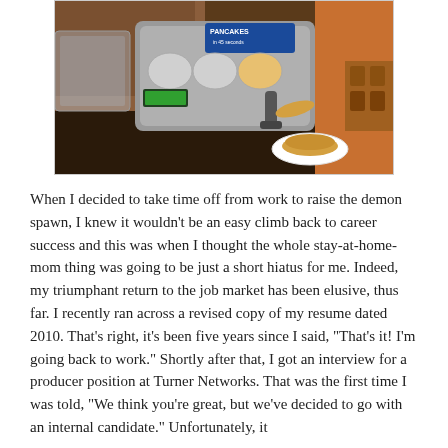[Figure (photo): A pancake-making machine on a buffet counter. The machine has a blue label reading 'PANCAKES in 45 seconds'. A pancake is seen being flipped into the air above a white plate with already-cooked pancakes on a dark counter surface.]
When I decided to take time off from work to raise the demon spawn, I knew it wouldn't be an easy climb back to career success and this was when I thought the whole stay-at-home-mom thing was going to be just a short hiatus for me. Indeed, my triumphant return to the job market has been elusive, thus far. I recently ran across a revised copy of my resume dated 2010. That's right, it's been five years since I said, "That's it! I'm going back to work." Shortly after that, I got an interview for a producer position at Turner Networks. That was the first time I was told, "We think you're great, but we've decided to go with an internal candidate." Unfortunately, it